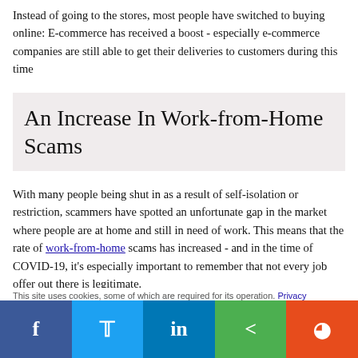Instead of going to the stores, most people have switched to buying online: E-commerce has received a boost - especially e-commerce companies are still able to get their deliveries to customers during this time
An Increase In Work-from-Home Scams
With many people being shut in as a result of self-isolation or restriction, scammers have spotted an unfortunate gap in the market where people are at home and still in need of work. This means that the rate of work-from-home scams has increased - and in the time of COVID-19, it's especially important to remember that not every job offer out there is legitimate.
This site uses cookies, some of which are required for its operation. Privacy